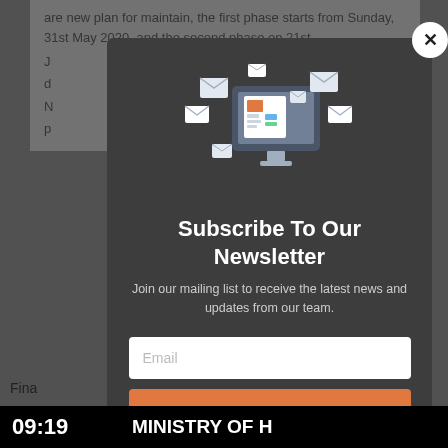are new plan for maintain, the first phase starts from Sunday, 31st May 2020, and the second phase on 21st J... d... N... p...
[Figure (screenshot): Newsletter subscription popup modal with dark background, featuring an illustration of a computer monitor with envelopes/mail flying around it, title 'Subscribe To Our Newsletter', description text, email input field, and subscribe button. A close (X) button appears in the top right corner.]
Subscribe To Our Newsletter
Join our mailing list to receive the latest news and updates from our team.
Email
Fina
09:19  MINISTRY OF H